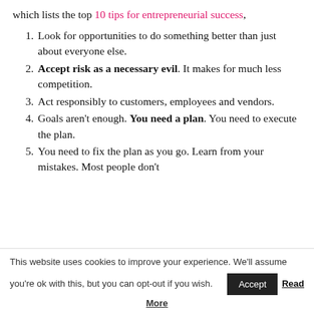which lists the top 10 tips for entrepreneurial success,
Look for opportunities to do something better than just about everyone else.
Accept risk as a necessary evil. It makes for much less competition.
Act responsibly to customers, employees and vendors.
Goals aren't enough. You need a plan. You need to execute the plan.
You need to fix the plan as you go. Learn from your mistakes. Most people don't
This website uses cookies to improve your experience. We'll assume you're ok with this, but you can opt-out if you wish. Accept Read More